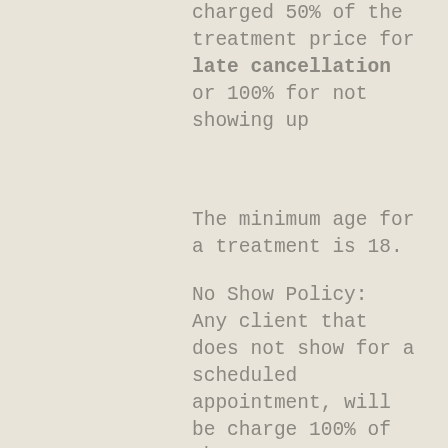charged 50% of the treatment price for late cancellation or 100% for not showing up
The minimum age for a treatment is 18.
No Show Policy:
Any client that does not show for a scheduled appointment, will be charge 100% of the treatment amount.
Patch Test is required for all clients. This will be posted out to you and must be done at least 24 hours before your appointment.
Please read pre-treatment information below to ensure you're suitable to